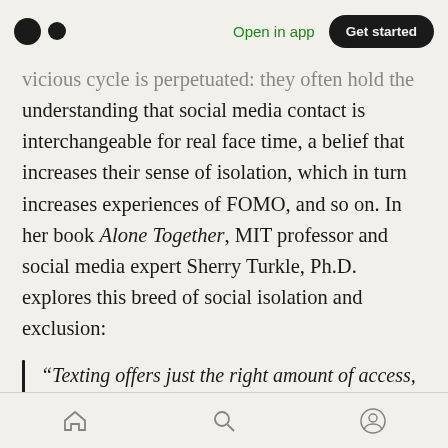Open in app | Get started
vicious cycle is perpetuated: they often hold the understanding that social media contact is interchangeable for real face time, a belief that increases their sense of isolation, which in turn increases experiences of FOMO, and so on. In her book Alone Together, MIT professor and social media expert Sherry Turkle, Ph.D. explores this breed of social isolation and exclusion:
“Texting offers just the right amount of access, just the right amount of control. [A 13-year-old girl who hates the phone and never listens to voicemail] is a modern Goldilocks: for her, texting puts people not
Home | Search | Profile